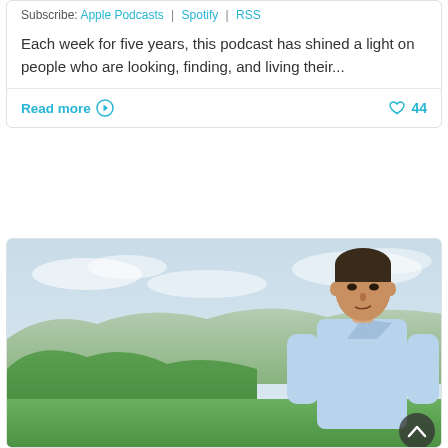Subscribe: Apple Podcasts | Spotify | RSS
Each week for five years, this podcast has shined a light on people who are looking, finding, and living their...
Read more
44
[Figure (photo): Portrait photo of a man with short dark hair wearing a light blue shirt, standing outdoors in front of green rolling hills and a cloudy sky.]